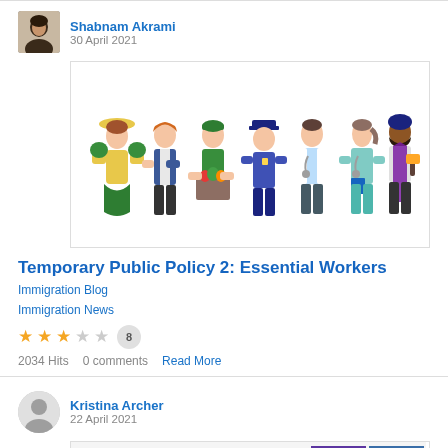Shabnam Akrami
30 April 2021
[Figure (illustration): Illustration of seven essential workers: farmer, office worker, grocery store worker, police officer, doctor, nurse, and tradesperson/painter standing in a row]
Temporary Public Policy 2: Essential Workers
Immigration Blog
Immigration News
★★★☆☆ 8
2034 Hits   0 comments   Read More
Kristina Archer
22 April 2021